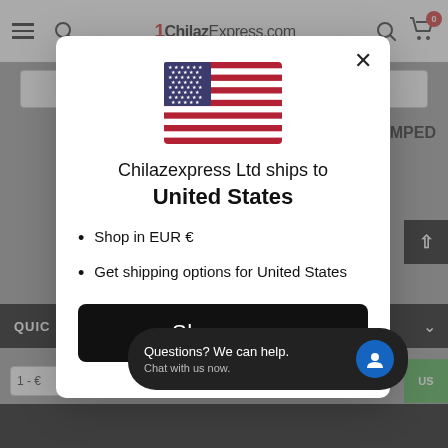[Figure (screenshot): Background of a website header with ChilazExpress.com logo, hamburger menu, search bar, and dimmed page content behind a modal overlay]
[Figure (other): US flag icon centered in modal]
Chilazexpress Ltd ships to United States
Shop in EUR €
Get shipping options for United States
Shop now
Questions? We can help. Chat with us now.